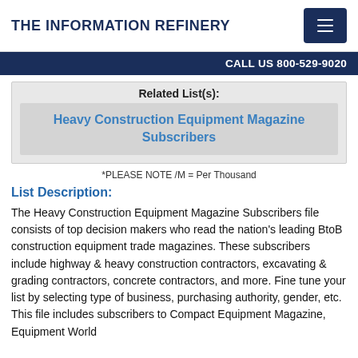THE INFORMATION REFINERY
CALL US 800-529-9020
Related List(s):
Heavy Construction Equipment Magazine Subscribers
*PLEASE NOTE /M = Per Thousand
List Description:
The Heavy Construction Equipment Magazine Subscribers file consists of top decision makers who read the nation's leading BtoB construction equipment trade magazines. These subscribers include highway & heavy construction contractors, excavating & grading contractors, concrete contractors, and more. Fine tune your list by selecting type of business, purchasing authority, gender, etc. This file includes subscribers to Compact Equipment Magazine, Equipment World